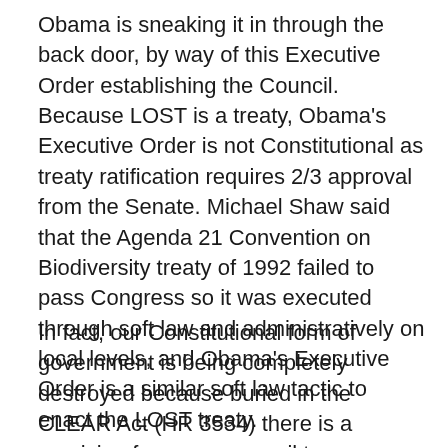Obama is sneaking it in through the back door, by way of this Executive Order establishing the Council. Because LOST is a treaty, Obama's Executive Order is not Constitutional as treaty ratification requires 2/3 approval from the Senate. Michael Shaw said that the Agenda 21 Convention on Biodiversity treaty of 1992 failed to pass Congress so it was executed through soft law and administratively on local levels, and Obama's Executive Order is a similar soft law tactic to enact the LOST treaty.
In fact, our Constitutional form of government is being completely destroyed because buried in the CLEAR Act (HR 3534) there is a provision for a new council to oversee the outer continental shelf- it appears that this Regional Outer Shelf Council will be part of the National Ocean Council. This means that if Congress makes the CLEAR Act into law, then the implementation of the UN